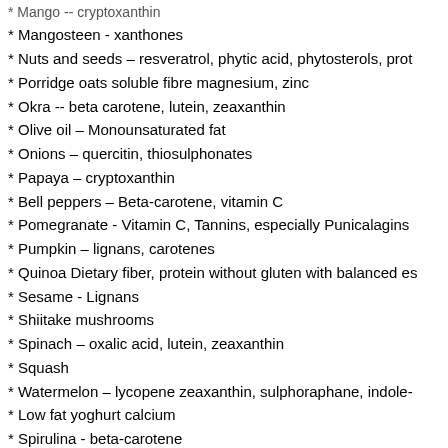Mango -- cryptoxanthin (truncated at top)
* Mangosteen - xanthones
* Nuts and seeds – resveratrol, phytic acid, phytosterols, prot…
* Porridge oats soluble fibre magnesium, zinc
* Okra -- beta carotene, lutein, zeaxanthin
* Olive oil – Monounsaturated fat
* Onions – quercitin, thiosulphonates
* Papaya – cryptoxanthin
* Bell peppers – Beta-carotene, vitamin C
* Pomegranate - Vitamin C, Tannins, especially Punicalagins
* Pumpkin – lignans, carotenes
* Quinoa Dietary fiber, protein without gluten with balanced es…
* Sesame - Lignans
* Shiitake mushrooms
* Spinach – oxalic acid, lutein, zeaxanthin
* Squash
* Watermelon – lycopene zeaxanthin, sulphoraphane, indole-…
* Low fat yoghurt calcium
* Spirulina - beta-carotene